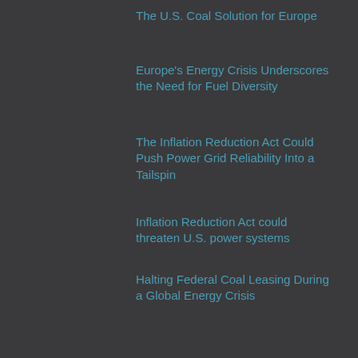The U.S. Coal Solution for Europe
Europe's Energy Crisis Underscores the Need for Fuel Diversity
The Inflation Reduction Act Could Push Power Grid Reliability Into a Tailspin
Inflation Reduction Act could threaten U.S. power systems
Halting Federal Coal Leasing During a Global Energy Crisis
RECENT TWEETS
Tweets by @countoncoal